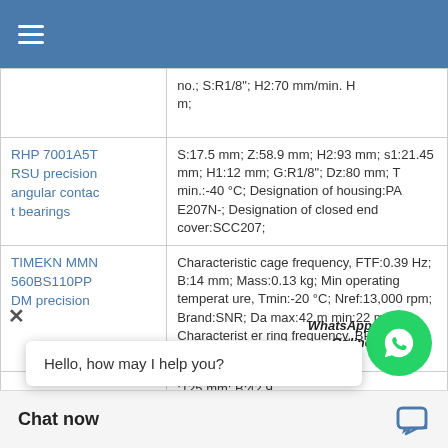Navigation menu
| Product | Specifications |
| --- | --- |
|  | no.; S:R1/8"; H2:70 mm/min. H m; |
| RHP 7001A5T RSU precision angular contact bearings | S:17.5 mm; Z:58.9 mm; H2:93 mm; s1:21.45 mm; H1:12 mm; G:R1/8"; Dz:80 mm; T min.:-40 °C; Designation of housing:PAE207N-; Designation of closed end cover:SCC207; |
| TIMEKN MMN 560BS110PP DM precision | Characteristic cage frequency, FTF:0.39 Hz; B:14 mm; Mass:0.13 kg; Min operating temperature, Tmin:-20 °C; Nref:13,000 rpm; Brand:SNR; Da max:42 mm; min:22 mm; Characteristic outer ring frequency, BPFO:4.28 Hz; D1:36.8 mm; |
|  | :125 mm; B:42.9 m; T max :200 °C; |
Hello, how may I help you?
Chat now